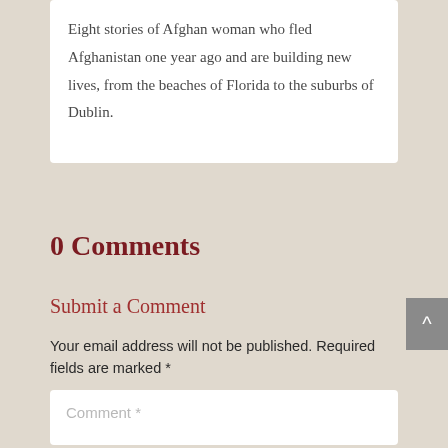Eight stories of Afghan woman who fled Afghanistan one year ago and are building new lives, from the beaches of Florida to the suburbs of Dublin.
0 Comments
Submit a Comment
Your email address will not be published. Required fields are marked *
Comment *